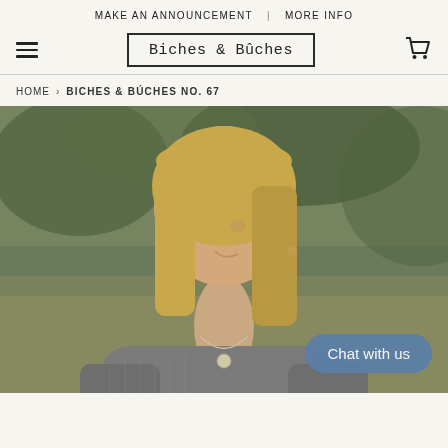MAKE AN ANNOUNCEMENT  |  MORE INFO
Biches & Bûches
HOME  >  BICHES & BÚCHES NO. 67
[Figure (photo): A woman with blonde hair wearing a grey knitted sweater and a necklace, photographed outdoors in a field with blurred greenery in the background. A 'Chat with us' button overlay appears in the lower right of the image.]